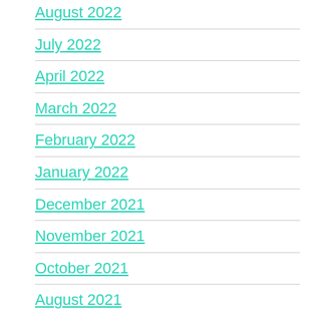August 2022
July 2022
April 2022
March 2022
February 2022
January 2022
December 2021
November 2021
October 2021
August 2021
June 2021